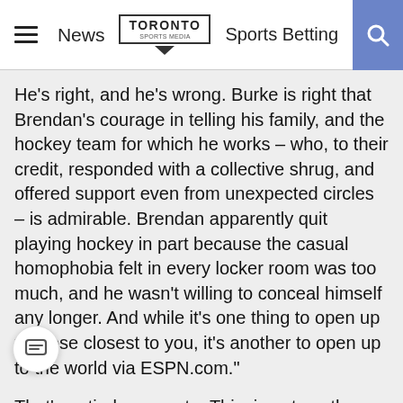News | TORONTO SPORTS MEDIA | Sports Betting
He’s right, and he’s wrong. Burke is right that Brendan’s courage in telling his family, and the hockey team for which he works – who, to their credit, responded with a collective shrug, and offered support even from unexpected circles – is admirable. Brendan apparently quit playing hockey in part because the casual homophobia felt in every locker room was too much, and he wasn’t willing to conceal himself any longer. And while it’s one thing to open up to those closest to you, it’s another to open up to the world via ESPN.com.”
That’s entirely accurate. This, is not, as the saying goes, your father’s chevrolet. These are not normal circumstances. If they were, Buccigross wouldn’t be talking about it, McCown wouldn’t be talking about it and Cox and Arthur wouldn’t be writing about Buccigross’s